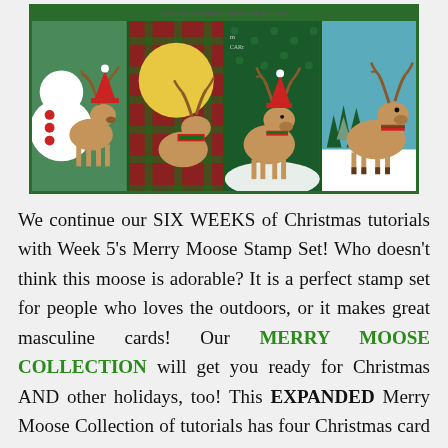[Figure (photo): Collage of four Christmas card designs featuring moose illustrations with plaid and holiday themes. URL www.createwithconnieandmary.com visible at top.]
We continue our SIX WEEKS of Christmas tutorials with Week 5's Merry Moose Stamp Set! Who doesn't think this moose is adorable? It is a perfect stamp set for people who loves the outdoors, or it makes great masculine cards! Our MERRY MOOSE COLLECTION will get you ready for Christmas AND other holidays, too! This EXPANDED Merry Moose Collection of tutorials has four Christmas card ideas, two birthday card ideas, and two small favor boxes that you will LOVE for your craft shows and gift giving anytime! Don't have the punch? No worries! All